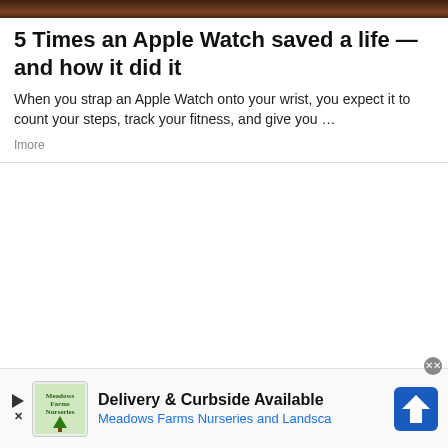[Figure (photo): Partial dark brown image banner at the top of the page]
5 Times an Apple Watch saved a life — and how it did it
When you strap an Apple Watch onto your wrist, you expect it to count your steps, track your fitness, and give you …
Imore
[Figure (infographic): Advertisement banner: Meadows Farms Nurseries and Landscape — Delivery & Curbside Available, with logo and navigation icon]